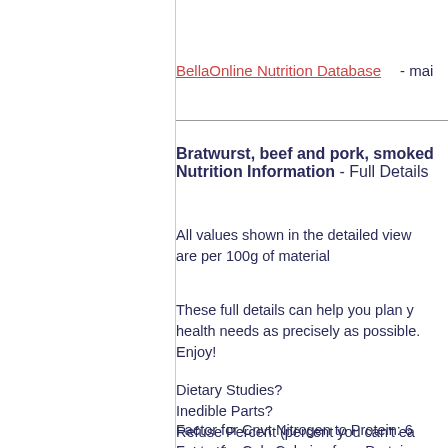BellaOnline Nutrition Database - mai
Bratwurst, beef and pork, smoked Nutrition Information - Full Details
All values shown in the detailed view are per 100g of material
These full details can help you plan your health needs as precisely as possible. Enjoy!
Dietary Studies?
Inedible Parts?
Refuse Percent (percent you can't eat)
Scientific Name:
Factor for Cnvt Nitrogen to Protein: 6
Factor for Calc Calories from Protein